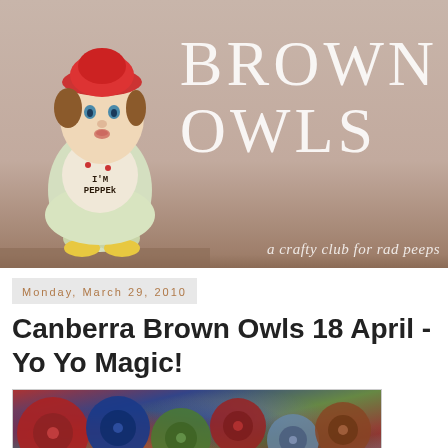[Figure (photo): Banner image for 'Brown Owls' crafty club blog. Shows a vintage ceramic salt/pepper shaker figurine of a child wearing a red hat, labeled 'I'M PEPPER', against a warm beige/taupe background. Large white hand-drawn text reads 'BROWN OWLS' with tagline 'a crafty club for rad peeps' in cursive.]
Monday, March 29, 2010
Canberra Brown Owls 18 April - Yo Yo Magic!
[Figure (photo): Partial photo showing colorful fabric yo-yos (gathered fabric circles used in crafting/quilting) in red, blue, green and floral patterns.]